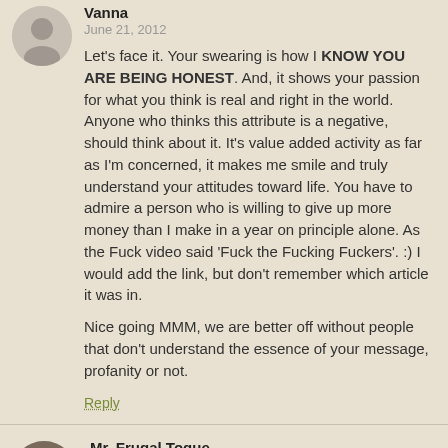Vanna
June 21, 2012
Let's face it. Your swearing is how I KNOW YOU ARE BEING HONEST. And, it shows your passion for what you think is real and right in the world. Anyone who thinks this attribute is a negative, should think about it. It's value added activity as far as I'm concerned, it makes me smile and truly understand your attitudes toward life. You have to admire a person who is willing to give up more money than I make in a year on principle alone. As the Fuck video said 'Fuck the Fucking Fuckers'. :) I would add the link, but don't remember which article it was in.
Nice going MMM, we are better off without people that don't understand the essence of your message, profanity or not.
Reply
Mr. Frugal Toque
June 21, 2012
One of Stephen King's best pieces of advice in "On Writing" was to be honest with your readers. If a blue-collar raised construction worker goes home angry at his boss, he's not going to tell his